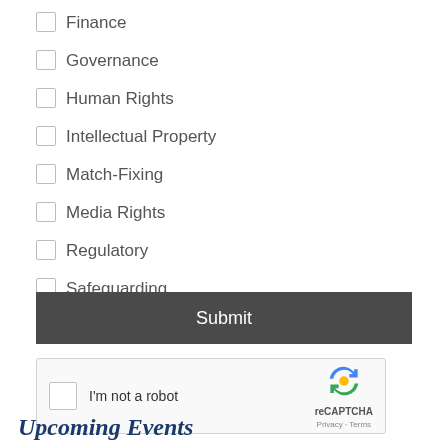Finance
Governance
Human Rights
Intellectual Property
Match-Fixing
Media Rights
Regulatory
Safeguarding
Tax
Submit
[Figure (other): reCAPTCHA widget with checkbox labeled 'I'm not a robot', reCAPTCHA logo, Privacy and Terms links]
Upcoming Events